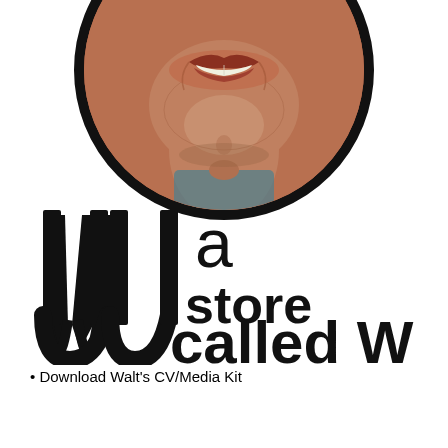[Figure (photo): Circular cropped photo of a smiling person, close-up of mouth/chin/neck area, with thick black circular border]
[Figure (logo): Logo reading 'a store called W' with a stylized black W letterform on the left side]
• Download Walt's CV/Media Kit